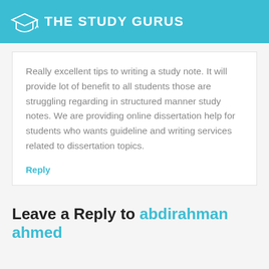THE STUDY GURUS
Really excellent tips to writing a study note. It will provide lot of benefit to all students those are struggling regarding in structured manner study notes. We are providing online dissertation help for students who wants guideline and writing services related to dissertation topics.
Reply
Leave a Reply to abdirahman ahmed